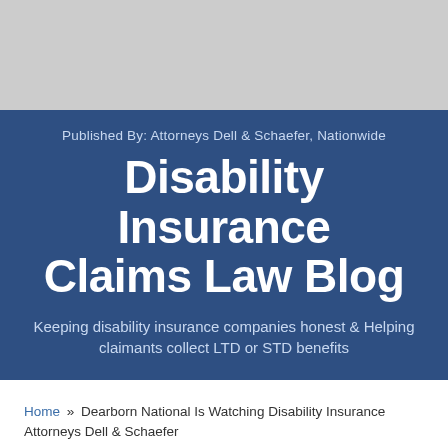[Figure (other): Gray banner at top of page]
Published By: Attorneys Dell & Schaefer, Nationwide
Disability Insurance Claims Law Blog
Keeping disability insurance companies honest & Helping claimants collect LTD or STD benefits
Home » Dearborn National Is Watching Disability Insurance Attorneys Dell & Schaefer